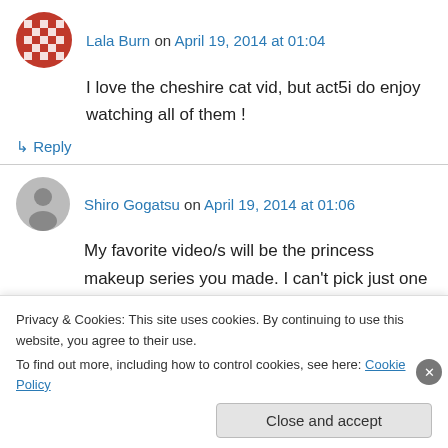Lala Burn on April 19, 2014 at 01:04
I love the cheshire cat vid, but act5i do enjoy watching all of them !
↳ Reply
Shiro Gogatsu on April 19, 2014 at 01:06
My favorite video/s will be the princess makeup series you made. I can't pick just one because everything is amazing. I am inspired by all the
Privacy & Cookies: This site uses cookies. By continuing to use this website, you agree to their use.
To find out more, including how to control cookies, see here: Cookie Policy
Close and accept